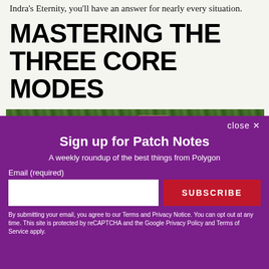Indra's Eternity, you'll have an answer for nearly every situation.
MASTERING THE THREE CORE MODES
[Figure (photo): A photo strip showing an old stone building with ivy/foliage and windows, outdoor scene]
close ✕
Sign up for Patch Notes
A weekly roundup of the best things from Polygon
Email (required)
SUBSCRIBE
By submitting your email, you agree to our Terms and Privacy Notice. You can opt out at any time. This site is protected by reCAPTCHA and the Google Privacy Policy and Terms of Service apply.